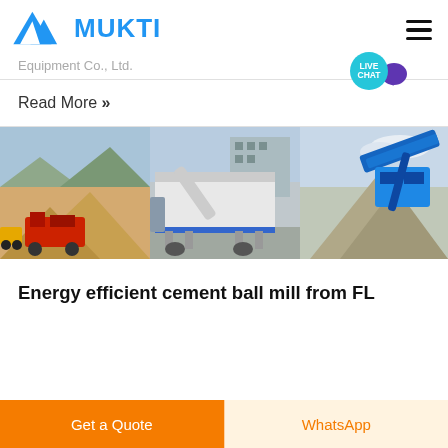[Figure (logo): MUKTI company logo with blue triangular mountain-like symbol and blue bold text MUKTI]
Equipment Co., Ltd.
Read More »
[Figure (photo): Three photos of mining/crushing equipment operations: red crusher machine with sand piles on left, white mobile crushing plant in center, blue conveyor belt with gravel pile on right]
Energy efficient cement ball mill from FL
Get a Quote
WhatsApp